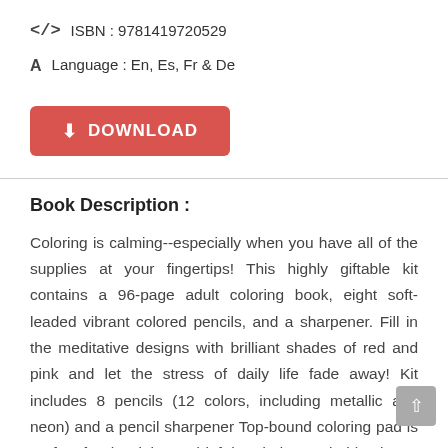ISBN : 9781419720529
Language : En, Es, Fr & De
DOWNLOAD
Book Description :
Coloring is calming--especially when you have all of the supplies at your fingertips! This highly giftable kit contains a 96-page adult coloring book, eight soft-leaded vibrant colored pencils, and a sharpener. Fill in the meditative designs with brilliant shades of red and pink and let the stress of daily life fade away! Kit includes 8 pencils (12 colors, including metallic and neon) and a pencil sharpener Top-bound coloring pad is perfect for the right- and left-handed Detachable sheets make it easy to display your finished work or share pages at coloring parties 94 images are printed double-sided on high quality paper Compact size is great for